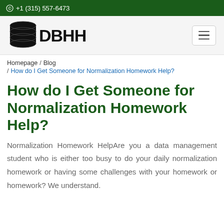⊙ +1 (315) 557-6473
[Figure (logo): DBHH logo with database stack icon and bold text DBHH]
Homepage / Blog / How do I Get Someone for Normalization Homework Help?
How do I Get Someone for Normalization Homework Help?
Normalization Homework HelpAre you a data management student who is either too busy to do your daily normalization homework or having some challenges with your homework or homework? We understand.